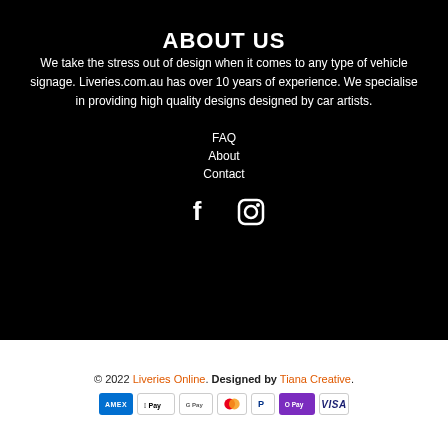ABOUT US
We take the stress out of design when it comes to any type of vehicle signage. Liveries.com.au has over 10 years of experience. We specialise in providing high quality designs designed by car artists.
FAQ
About
Contact
[Figure (other): Social media icons: Facebook (f) and Instagram (camera icon)]
© 2022 Liveries Online. Designed by Tiana Creative.
[Figure (other): Payment method icons: AMEX, Apple Pay, Google Pay, Mastercard, PayPal, OPay, VISA]